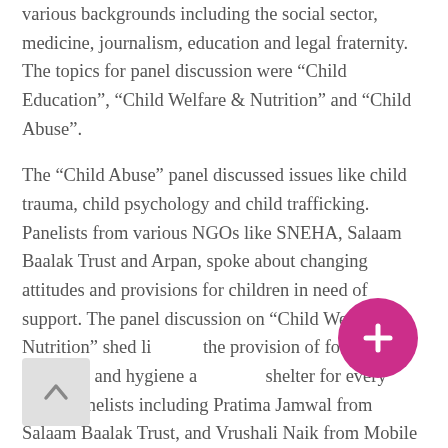various backgrounds including the social sector, medicine, journalism, education and legal fraternity. The topics for panel discussion were “Child Education”, “Child Welfare & Nutrition” and “Child Abuse”.
The “Child Abuse” panel discussed issues like child trauma, child psychology and child trafficking. Panelists from various NGOs like SNEHA, Salaam Baalak Trust and Arpan, spoke about changing attitudes and provisions for children in need of support. The panel discussion on “Child Welfare & Nutrition” shed light on the provision of food, medicine and hygiene as well as shelter for every child. Panelists including Pratima Jamwal from Salaam Baalak Trust, and Vrushali Naik from Mobile Creches shared their insights and experiences of working on these issues.
The discussion on “Child Education” focused on topics